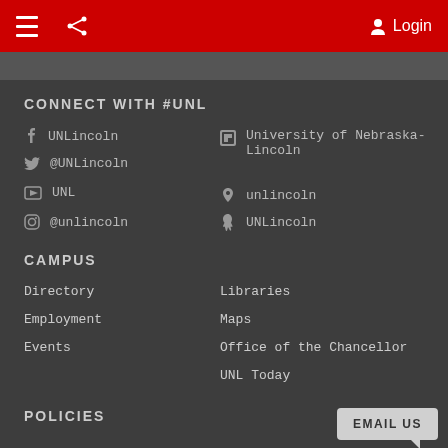Login
CONNECT WITH #UNL
UNLincoln
@UNLincoln
UNL
@unlincoln
University of Nebraska-Lincoln
unlincoln
UNLincoln
CAMPUS
Directory
Employment
Events
Libraries
Maps
Office of the Chancellor
UNL Today
POLICIES
EMAIL US